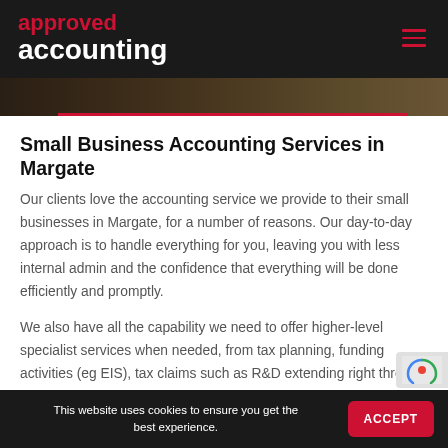approved accounting
[Figure (photo): Partial hero image strip showing colorful document tabs or folders with a red accent line]
Small Business Accounting Services in Margate
Our clients love the accounting service we provide to their small businesses in Margate, for a number of reasons. Our day-to-day approach is to handle everything for you, leaving you with less internal admin and the confidence that everything will be done efficiently and promptly.
We also have all the capability we need to offer higher-level specialist services when needed, from tax planning, funding activities (eg EIS), tax claims such as R&D extending right through to FD services.
This website uses cookies to ensure you get the best experience.